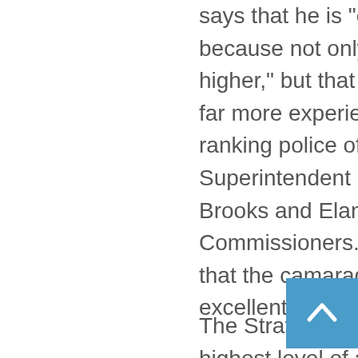says that he is 'elated' this time even more, because not only was the standard much higher," but that he was exposed to a cadre of far more experienced and more senior ranking police officers inclusive of Senior Superintendent 'Bigger' Forde; ACPs Grant, Brooks and Elan Powell; and two Deputy Commissioners. Robinson readily admitted that the camaraderie among the officers was excellent, yet extremely competitive.
The Strategic Command Course is the highest level of all courses